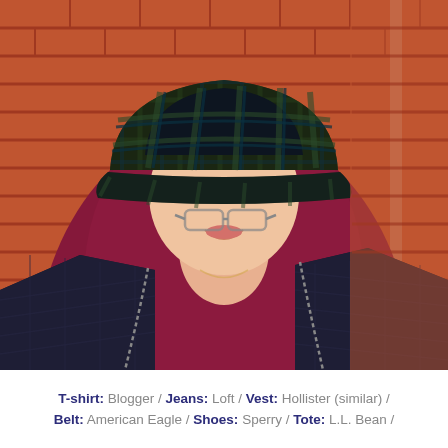[Figure (photo): A person wearing a dark navy/dark green plaid baseball cap pulled down over their face with glasses visible underneath, smiling. They wear a maroon/burgundy v-neck long-sleeve shirt and a dark navy quilted vest with visible zipper. Background is a red brick wall.]
T-shirt: Blogger / Jeans: Loft / Vest: Hollister (similar) / Belt: American Eagle / Shoes: Sperry / Tote: L.L. Bean /